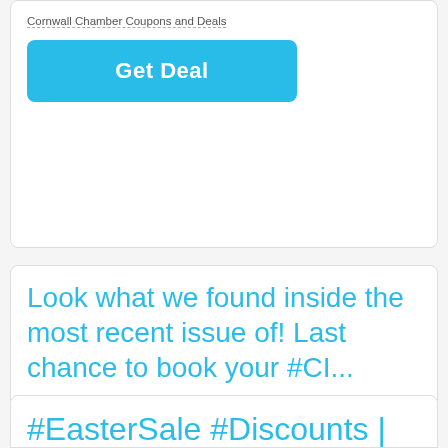Cornwall Chamber Coupons and Deals
[Figure (other): Blue 'Get Deal' button]
Look what we found inside the most recent issue of! Last chance to book your #CI...
Check Details
No Coupon Code Required
CIJ Coupons and Deals
[Figure (other): Blue 'Get Deal' button]
#EasterSale #Discounts | 12